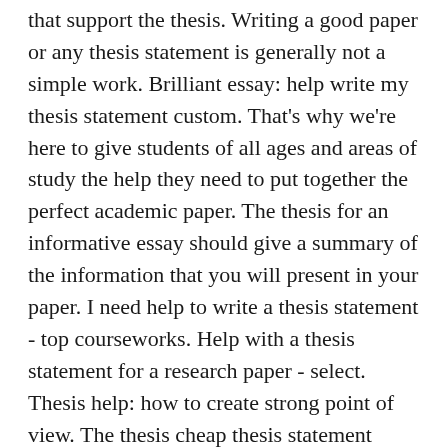that support the thesis. Writing a good paper or any thesis statement is generally not a simple work. Brilliant essay: help write my thesis statement custom. That's why we're here to give students of all ages and areas of study the help they need to put together the perfect academic paper. The thesis for an informative essay should give a summary of the information that you will present in your paper. I need help to write a thesis statement - top courseworks. Help with a thesis statement for a research paper - select. Thesis help: how to create strong point of view. The thesis cheap thesis statement ought to be limited to what can be achieved in the particular number of pages. Jul 3, 2018 - a working thesis helps direct students to. Pres...